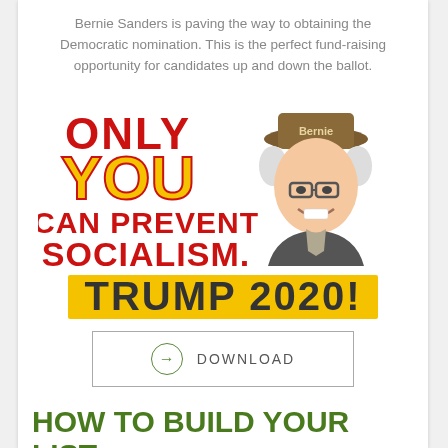Bernie Sanders is paving the way to obtaining the Democratic nomination. This is the perfect fund-raising opportunity for candidates up and down the ballot.
[Figure (illustration): A political parody image with cartoon caricature of Bernie Sanders wearing a 'Bernie' hat. Red and yellow bold text reads: ONLY YOU CAN PREVENT SOCIALISM. TRUMP 2020! in comic book style lettering.]
DOWNLOAD
HOW TO BUILD YOUR LIST OF DONOR PROSPECTS